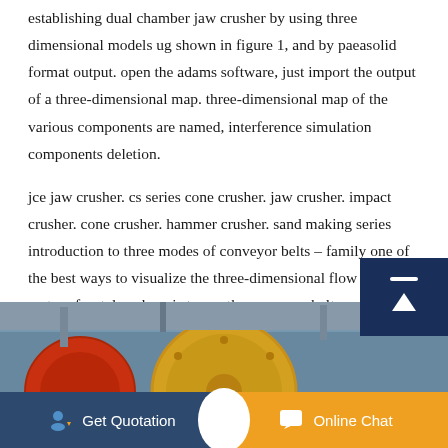establishing dual chamber jaw crusher by using three dimensional models ug shown in figure 1, and by paeasolid format output. open the adams software, just import the output of a three-dimensional map. three-dimensional map of the various components are named, interference simulation components deletion.
jce jaw crusher. cs series cone crusher. jaw crusher. impact crusher. cone crusher. hammer crusher. sand making series introduction to three modes of conveyor belts – family one of the best ways to visualize the three-dimensional flow around mature frontal cyclone is to use the conveyor belt concept. even though carlson
[Figure (photo): Industrial machinery photograph showing large circular mechanical components, possibly crusher or conveyor belt parts, in an industrial facility setting with yellow and red colored machinery parts visible.]
Get Quotation
Online Chat